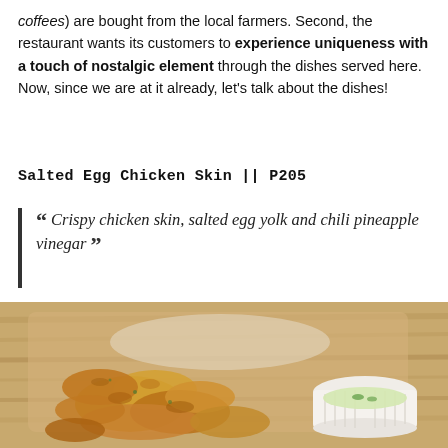coffees) are bought from the local farmers. Second, the restaurant wants its customers to experience uniqueness with a touch of nostalgic element through the dishes served here. Now, since we are at it already, let's talk about the dishes!
Salted Egg Chicken Skin || P205
Crispy chicken skin, salted egg yolk and chili pineapple vinegar
[Figure (photo): Fried crispy salted egg chicken skin pieces arranged on a wooden cutting board, served with a small white ramekin of dipping sauce (chili pineapple vinegar), with a wooden background.]